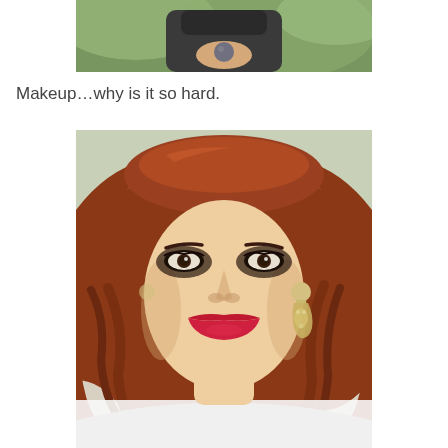[Figure (photo): A person in a dark coat looking down at a small round object they are holding, with green foliage in the background (partial/cropped view showing torso and hands)]
Makeup…why is it so hard.
[Figure (photo): Close-up portrait of a woman with auburn/red curly hair styled up, heavy smoky eye makeup, bright red lipstick, and chandelier earrings, wearing a white top. She has an expression of mild distress or concern.]